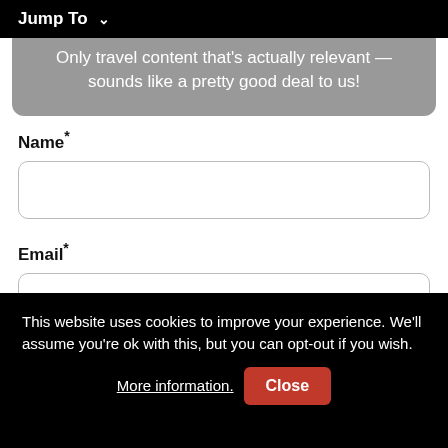Jump To ∨
Only travel content that's actually relevant — sounds like a pretty good deal to us!
Name*
Email*
This website uses cookies to improve your experience. We'll assume you're ok with this, but you can opt-out if you wish. More information. Close